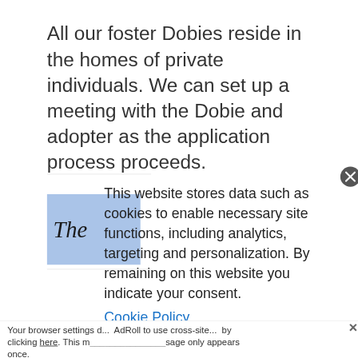All our foster Dobies reside in the homes of private individuals. We can set up a meeting with the Dobie and adopter as the application process proceeds.
[Figure (other): Partial view of a blue advertisement banner showing 'The' in italic serif font]
This website stores data such as cookies to enable necessary site functions, including analytics, targeting and personalization. By remaining on this website you indicate your consent.
Cookie Policy
Your browser settings d... AdRoll to use cross-site... by clicking here. This m...sage only appears once.